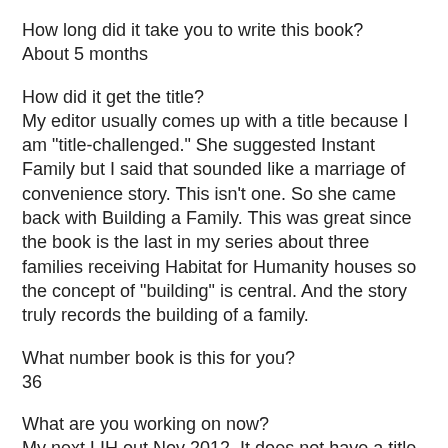How long did it take you to write this book?
About 5 months
How did it get the title?
My editor usually comes up with a title because I am "title-challenged." She suggested Instant Family but I said that sounded like a marriage of convenience story. This isn't one. So she came back with Building a Family. This was great since the book is the last in my series about three families receiving Habitat for Humanity houses so the concept of "building" is central. And the story truly records the building of a family.
What number book is this for you?
36
What are you working on now?
My next LIH out Nov 2012. It does not have a title but I did give the series a working title of "Wilderness Brides." Readers who loved my "Gabriel Sisters" series will